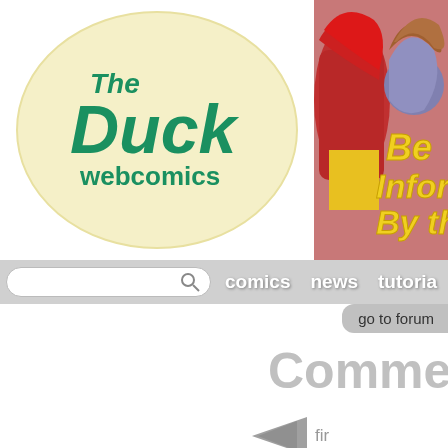[Figure (logo): The Duck Webcomics logo — teal text on a cream/yellow oval background]
[Figure (illustration): Banner advertisement showing illustrated comic characters — a red-haired figure and a blue-faced figure kissing, with yellow text 'Be Informed By th...' on a pink background]
Yo
[Figure (screenshot): Website navigation bar with search box, comics, news, tutorial links on grey background]
go to forum
Comme
[Figure (illustration): Navigation back arrow button with 'fir' text next to it]
[Figure (illustration): Comic page panel showing a dark-haired character in a coat near gravestones and a hexagonal symbol, reddish background]